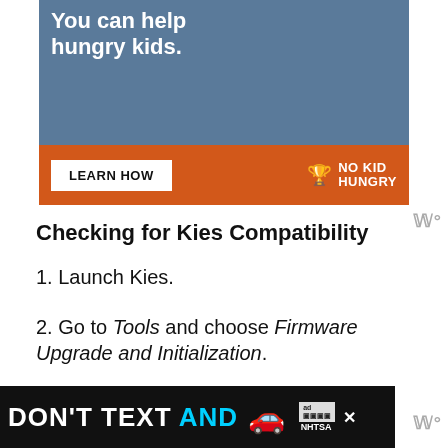[Figure (photo): Advertisement banner: 'You can help hungry kids.' with LEARN HOW button and No Kid Hungry logo on orange background]
Checking for Kies Compatibility
1. Launch Kies.
2. Go to Tools and choose Firmware Upgrade and Initialization.
[Figure (photo): Bottom advertisement: DON'T TEXT AND [car emoji] with ad badge and NHTSA logo on black background]